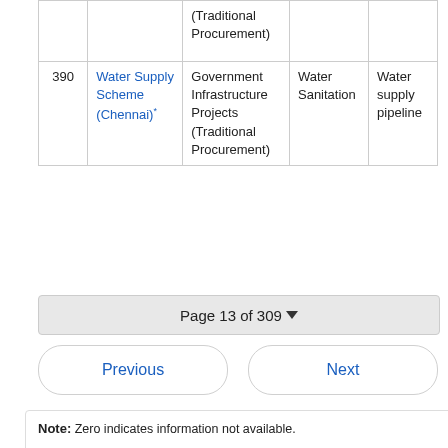|  | Project Name | Sector | Sub-sector | Asset |
| --- | --- | --- | --- | --- |
|  | (Traditional Procurement) |  |  |  |
| 390 | Water Supply Scheme (Chennai)* | Government Infrastructure Projects (Traditional Procurement) | Water Sanitation | Water supply pipeline |
Page 13 of 309
Previous   Next
Note: Zero indicates information not available.

These reports are based on data received from relevant Project Authorities and is being updated on a best endeavor basis. Contact project sponsoring authorities to seek additional details.